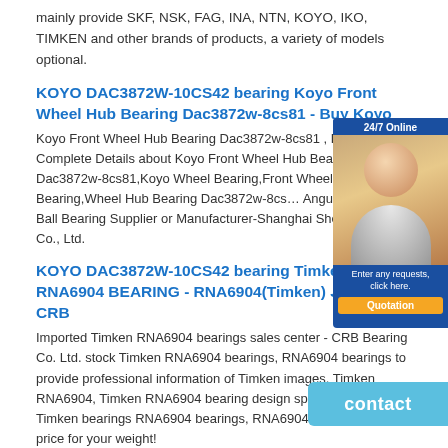mainly provide SKF, NSK, FAG, INA, NTN, KOYO, IKO, TIMKEN and other brands of products, a variety of models optional.
KOYO DAC3872W-10CS42 bearing Koyo Front Wheel Hub Bearing Dac3872w-8cs81 - Buy Koyo
Koyo Front Wheel Hub Bearing Dac3872w-8cs81 , Find Complete Details about Koyo Front Wheel Hub Bearing Dac3872w-8cs81,Koyo Wheel Bearing,Front Wheel Hub Bearing,Wheel Hub Bearing Dac3872w-8cs... Angular Contact Ball Bearing Supplier or Manufacturer-Shanghai Shen... Bearing Co., Ltd.
[Figure (photo): Customer service representative chat widget with 24/7 Online label, photo of woman with headset, Enter any requests click here text, and Quotation button]
KOYO DAC3872W-10CS42 bearing Timken - RNA6904 BEARING - RNA6904(Timken) Jordan | CRB
Imported Timken RNA6904 bearings sales center - CRB Bearing Co. Ltd. stock Timken RNA6904 bearings, RNA6904 bearings to provide professional information of Timken images, Timken RNA6904, Timken RNA6904 bearing design specifications, Timken bearings RNA6904 bearings, RNA6904 bearing Timken price for your weight!
KOYO DAC3872W-10CS42 bearing SKF Bearings Master Interchange -
SKF is your source for a wide range of products covering various... From automotive to heavy duty to industrial applications, SKF offers a solution
[Figure (other): Contact button widget in light blue with text 'contact']